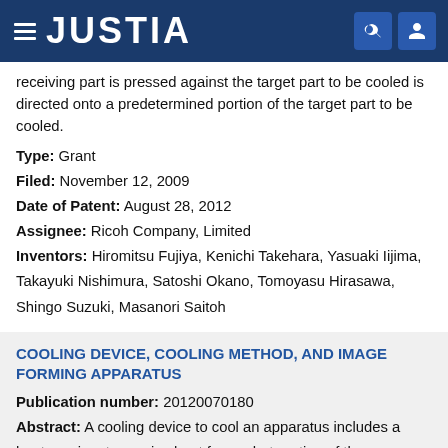JUSTIA
receiving part is pressed against the target part to be cooled is directed onto a predetermined portion of the target part to be cooled.
Type: Grant
Filed: November 12, 2009
Date of Patent: August 28, 2012
Assignee: Ricoh Company, Limited
Inventors: Hiromitsu Fujiya, Kenichi Takehara, Yasuaki Iijima, Takayuki Nishimura, Satoshi Okano, Tomoyasu Hirasawa, Shingo Suzuki, Masanori Saitoh
COOLING DEVICE, COOLING METHOD, AND IMAGE FORMING APPARATUS
Publication number: 20120070180
Abstract: A cooling device to cool an apparatus includes a heat receiver to receive heat from a hot portion of the apparatus using a coolant while contacting the hot